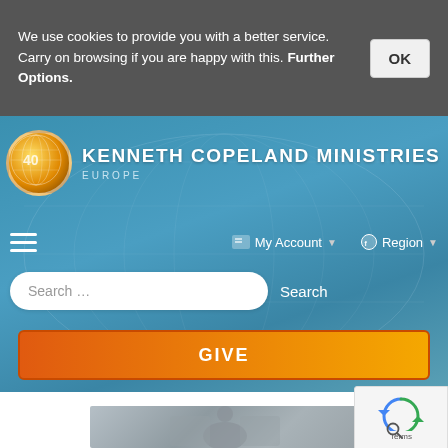We use cookies to provide you with a better service. Carry on browsing if you are happy with this. Further Options.
[Figure (logo): Kenneth Copeland Ministries Europe logo with globe icon]
My Account
Region
Search …
Search
GIVE
[Figure (photo): Grayscale photo of a person, partially visible at bottom of page]
[Figure (other): reCAPTCHA widget with Terms label]